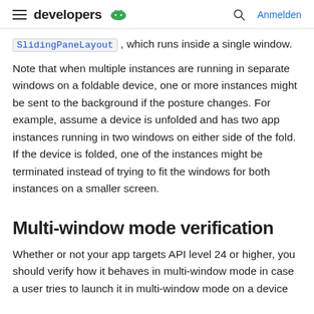developers  Anmelden
SlidingPaneLayout , which runs inside a single window.
Note that when multiple instances are running in separate windows on a foldable device, one or more instances might be sent to the background if the posture changes. For example, assume a device is unfolded and has two app instances running in two windows on either side of the fold. If the device is folded, one of the instances might be terminated instead of trying to fit the windows for both instances on a smaller screen.
Multi-window mode verification
Whether or not your app targets API level 24 or higher, you should verify how it behaves in multi-window mode in case a user tries to launch it in multi-window mode on a device